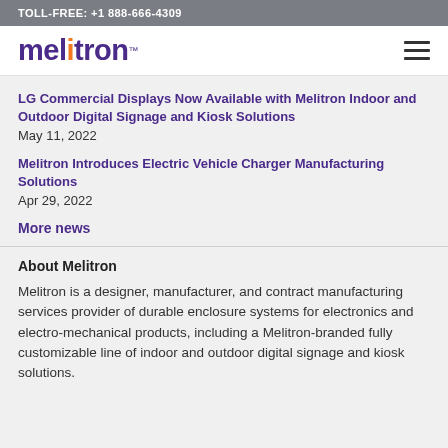TOLL-FREE:  +1 888-666-4309
[Figure (logo): Melitron logo in purple bold text with trademark symbol]
LG Commercial Displays Now Available with Melitron Indoor and Outdoor Digital Signage and Kiosk Solutions
May 11, 2022
Melitron Introduces Electric Vehicle Charger Manufacturing Solutions
Apr 29, 2022
More news
About Melitron
Melitron is a designer, manufacturer, and contract manufacturing services provider of durable enclosure systems for electronics and electro-mechanical products, including a Melitron-branded fully customizable line of indoor and outdoor digital signage and kiosk solutions.